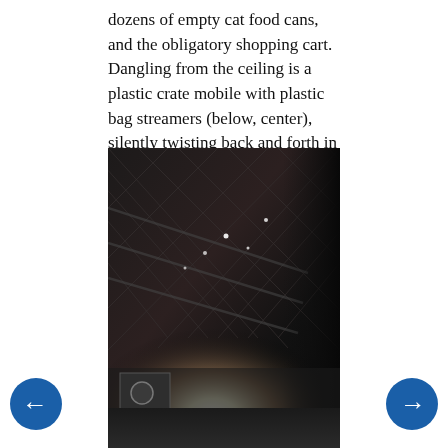dozens of empty cat food cans, and the obligatory shopping cart. Dangling from the ceiling is a plastic crate mobile with plastic bag streamers (below, center), silently twisting back and forth in the breeze.
[Figure (photo): Interior photo of a dark building showing a black lattice-patterned ceiling structure angled diagonally, with bright white light flooding in from the lower center/left area, a dark right wall, and visible bottom with a door featuring a circular emblem. Two circular navigation buttons (left arrow and right arrow in blue circles) are overlaid at the bottom corners.]